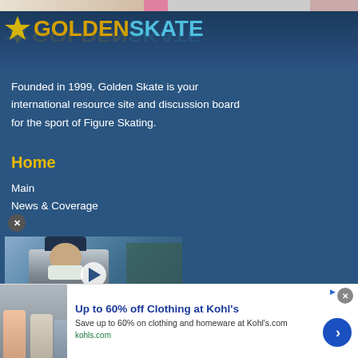[Figure (logo): GoldenSkate logo with star icon, gold GOLDEN and blue SKATE text, with reflection]
Founded in 1999, Golden Skate is your international resource site and discussion board for the sport of Figure Skating.
Home
Main
News & Coverage
[Figure (screenshot): Video thumbnail showing a person wearing a mask and Olympic cap outdoors, with a play button overlay]
[Figure (infographic): Advertisement banner: Up to 60% off Clothing at Kohl's - Save up to 60% on clothing and homeware at Kohl's.com - kohls.com]